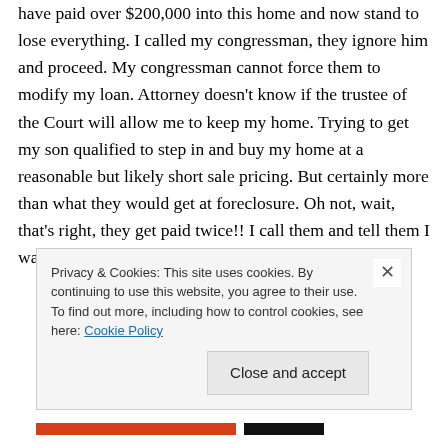have paid over $200,000 into this home and now stand to lose everything. I called my congressman, they ignore him and proceed. My congressman cannot force them to modify my loan. Attorney doesn't know if the trustee of the Court will allow me to keep my home. Trying to get my son qualified to step in and buy my home at a reasonable but likely short sale pricing. But certainly more than what they would get at foreclosure. Oh not, wait, that's right, they get paid twice!! I call them and tell them I want to
Privacy & Cookies: This site uses cookies. By continuing to use this website, you agree to their use.
To find out more, including how to control cookies, see here: Cookie Policy